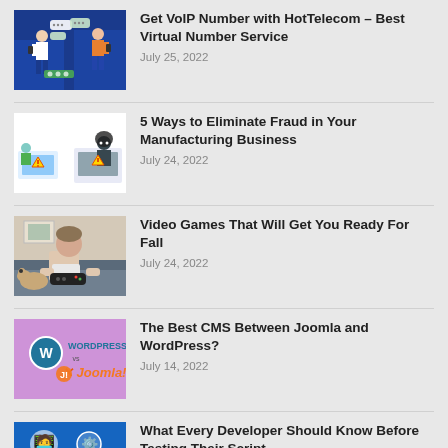[Figure (illustration): Two people texting with chat bubbles, VoIP illustration on dark blue background]
Get VoIP Number with HotTelecom – Best Virtual Number Service
July 25, 2022
[Figure (illustration): Fraud/cybersecurity illustration with person at computer and hooded figure]
5 Ways to Eliminate Fraud in Your Manufacturing Business
July 24, 2022
[Figure (photo): Man sitting on couch playing video games with a dog]
Video Games That Will Get You Ready For Fall
July 24, 2022
[Figure (illustration): WordPress vs Joomla logo image on purple background]
The Best CMS Between Joomla and WordPress?
July 14, 2022
[Figure (illustration): Blue background with developer/tech illustration]
What Every Developer Should Know Before Testing Their Script